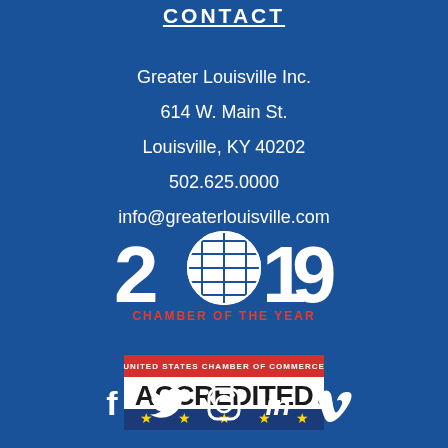CONTACT
Greater Louisville Inc.
614 W. Main St.
Louisville, KY 40202
502.625.0000
info@greaterlouisville.com
[Figure (logo): 2019 Chamber of the Year logo with globe motif replacing the zero]
[Figure (logo): United States Chamber of Commerce ACCREDITED badge with 5 gold stars]
[Figure (infographic): Social media icons: Facebook, Twitter, Instagram, LinkedIn, Vimeo]